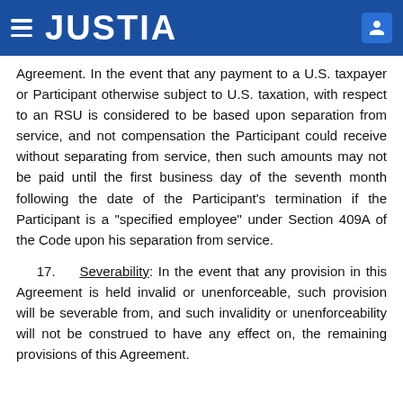JUSTIA
Agreement. In the event that any payment to a U.S. taxpayer or Participant otherwise subject to U.S. taxation, with respect to an RSU is considered to be based upon separation from service, and not compensation the Participant could receive without separating from service, then such amounts may not be paid until the first business day of the seventh month following the date of the Participant’s termination if the Participant is a “specified employee” under Section 409A of the Code upon his separation from service.
17. Severability: In the event that any provision in this Agreement is held invalid or unenforceable, such provision will be severable from, and such invalidity or unenforceability will not be construed to have any effect on, the remaining provisions of this Agreement.